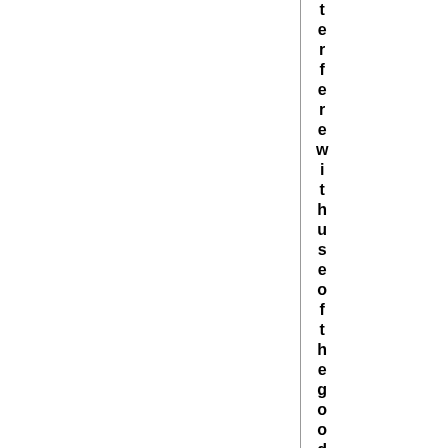terfere with use of the good or servi